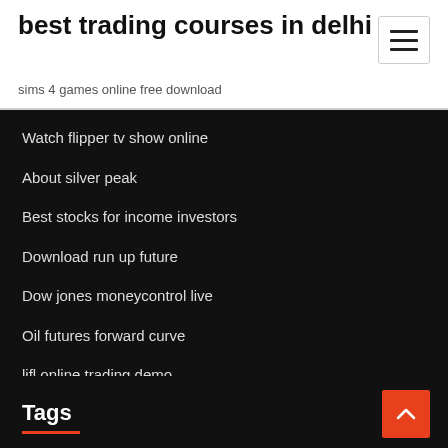best trading courses in delhi
sims 4 games online free download
Watch flipper tv show online
About silver peak
Best stocks for income investors
Download run up future
Dow jones moneycontrol live
Oil futures forward curve
lifl online trading demo
Stock market news articles
Tags